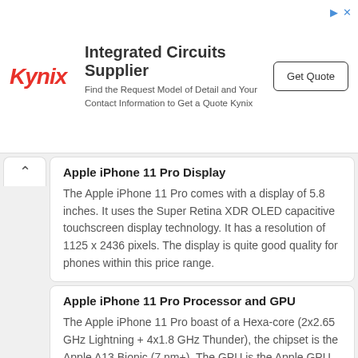[Figure (other): Kynix advertisement banner with logo, title 'Integrated Circuits Supplier', subtitle text, and Get Quote button]
Apple iPhone 11 Pro Display
The Apple iPhone 11 Pro comes with a display of 5.8 inches. It uses the Super Retina XDR OLED capacitive touchscreen display technology. It has a resolution of 1125 x 2436 pixels. The display is quite good quality for phones within this price range.
Apple iPhone 11 Pro Processor and GPU
The Apple iPhone 11 Pro boast of a Hexa-core (2x2.65 GHz Lightning + 4x1.8 GHz Thunder), the chipset is the Apple A13 Bionic (7 nm+). The GPU is the Apple GPU (4-core graphics).
Apple iPhone 11 Pro Internal and External Memory (RAM and ROM)
The Apple iPhone 11 Pro also comes with a 4 GB of RAM and Memory (ROM) of 64...